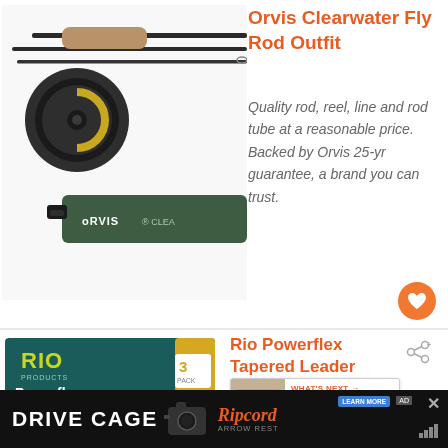[Figure (photo): Orvis Clearwater fly rod outfit — rod sections, reel, and green rod tube with ORVIS CLEARWATER text]
Orvis Clearwater Fly Rod Outfit
Quality rod, reel, line and rod tube at a reasonable price. Backed by Orvis 25-yr guarantee, a brand you can trust.
[Figure (photo): Rio Products Powerflex Trout Tapered Leader — 3 Pack box, teal and yellow packaging]
Rio Powerflex Tapered Leader
High performance nylon leader, great for
[Figure (infographic): What's Next overlay: thumbnail image and text 'Pricing Plans · DIY Fly...']
[Figure (advertisement): DRIVE CAGE advertisement banner with Ripcord Arrow Rest logo]